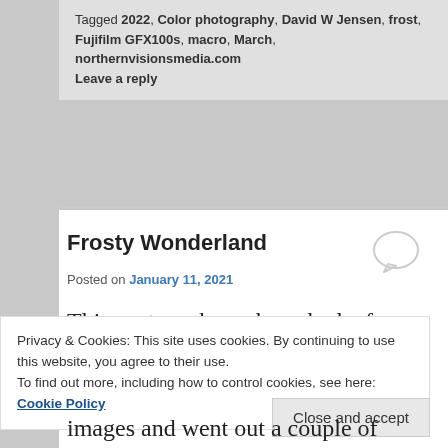Tagged 2022, Color photography, David W Jensen, frost, Fujifilm GFX100s, macro, March, northernvisionsmedia.com
Leave a reply
Frosty Wonderland
Posted on January 11, 2021
This past week week we had a few foggy days with cooler temps which
Privacy & Cookies: This site uses cookies. By continuing to use this website, you agree to their use.
To find out more, including how to control cookies, see here: Cookie Policy
Close and accept
images and went out a couple of days